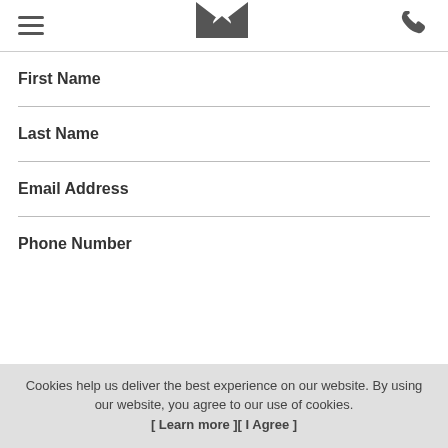[hamburger menu] [email/envelope logo] [phone icon]
First Name
Last Name
Email Address
Phone Number
Cookies help us deliver the best experience on our website. By using our website, you agree to our use of cookies. [ Learn more ][ I Agree ]